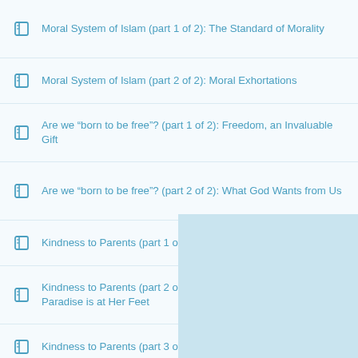Moral System of Islam (part 1 of 2): The Standard of Morality
Moral System of Islam (part 2 of 2): Moral Exhortations
Are we “born to be free”? (part 1 of 2): Freedom, an Invaluable Gift
Are we “born to be free”? (part 2 of 2): What God Wants from Us
Kindness to Parents (part 1 of 3): Duty and Devotion
Kindness to Parents (part 2 of 3): The Value of Motherhood: Paradise is at Her Feet
Kindness to Parents (part 3 of 3): Even After Death
Generosity
Honesty
Humility
Trustworthiness